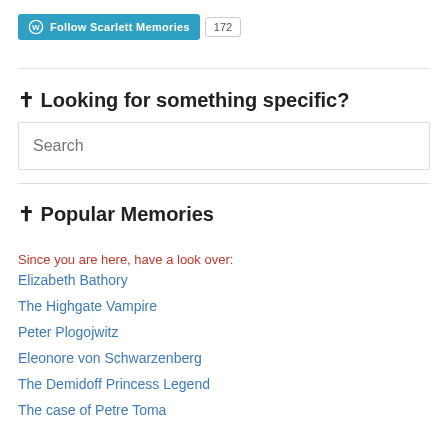[Figure (other): WordPress Follow button for Scarlett Memories blog with follower count 172]
✝ Looking for something specific?
[Figure (other): Search input box with placeholder text 'Search']
✝ Popular Memories
Since you are here, have a look over:
Elizabeth Bathory
The Highgate Vampire
Peter Plogojwitz
Eleonore von Schwarzenberg
The Demidoff Princess Legend
The case of Petre Toma